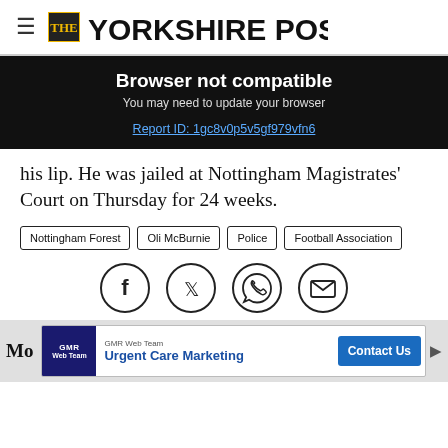THE YORKSHIRE POST
Browser not compatible
You may need to update your browser
Report ID: 1gc8v0p5v5gf979vfn6
his lip. He was jailed at Nottingham Magistrates' Court on Thursday for 24 weeks.
Nottingham Forest
Oli McBurnie
Police
Football Association
[Figure (infographic): Social sharing icons: Facebook, Twitter, WhatsApp, Email]
Mo... GMR Web Team Urgent Care Marketing Contact Us